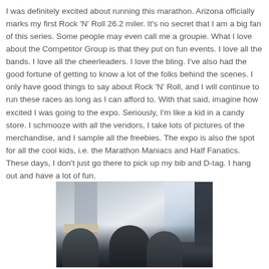I was definitely excited about running this marathon. Arizona officially marks my first Rock 'N' Roll 26.2 miler. It's no secret that I am a big fan of this series. Some people may even call me a groupie. What I love about the Competitor Group is that they put on fun events. I love all the bands. I love all the cheerleaders. I love the bling. I've also had the good fortune of getting to know a lot of the folks behind the scenes. I only have good things to say about Rock 'N' Roll, and I will continue to run these races as long as I can afford to. With that said, imagine how excited I was going to the expo. Seriously, I'm like a kid in a candy store. I schmooze with all the vendors, I take lots of pictures of the merchandise, and I sample all the freebies. The expo is also the spot for all the cool kids, i.e. the Marathon Maniacs and Half Fanatics. These days, I don't just go there to pick up my bib and D-tag. I hang out and have a lot of fun.
[Figure (photo): A photo of people, likely taken at an indoor venue. Several individuals visible, partially silhouetted, with a bright window or light source in the background and a pillar visible on the left.]